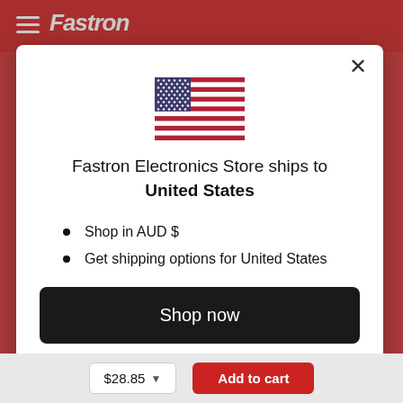[Figure (screenshot): Fastron Electronics Store website header with red background, hamburger menu icon, and Fastron logo in white italic text]
[Figure (illustration): United States flag SVG illustration]
Fastron Electronics Store ships to United States
Shop in AUD $
Get shipping options for United States
Shop now
Change shipping country
$28.85   Add to cart